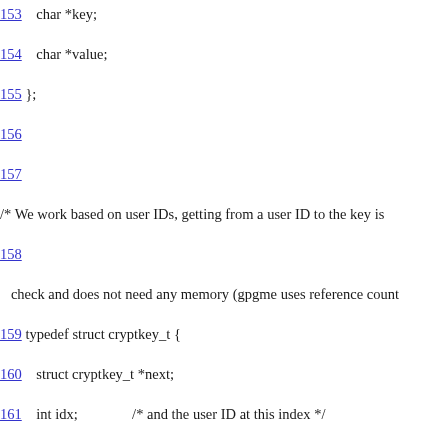153    char *key;
154    char *value;
155 };
156
157
/* We work based on user IDs, getting from a user ID to the key is
158
   check and does not need any memory (gpgme uses reference count
159 typedef struct cryptkey_t {
160    struct cryptkey_t *next;
161    int idx;               /* and the user ID at this index */
162
   int flags;             /* global and per uid flags (for convenience)
163    gpgme_key_t kobj;
164
   const char *uid;       /* and for convenience point to this user I
165 } cryptkey_t;
166
167 DO_INIT(cryptkey_t, cryptkey);
168 static void cryptkey_wipe(cryptkey_t *key) {
169    gpgme_key_release(key->kobj);
170 }
171 DO_NEW(cryptkey_t, cryptkey);
172 DO_DELETE(cryptkey_t, cryptkey);
173 DO_SLIST(cryptkey_t, key, cryptkey_delete);
174